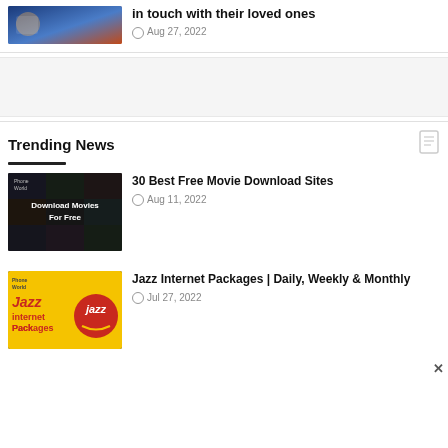[Figure (photo): Thumbnail image for top article about keeping in touch with loved ones]
in touch with their loved ones
Aug 27, 2022
[Figure (other): Advertisement banner]
Trending News
[Figure (photo): Thumbnail showing Download Movies For Free text over a movie collage background]
30 Best Free Movie Download Sites
Aug 11, 2022
[Figure (photo): Jazz Internet Packages thumbnail with yellow background and Jazz logo]
Jazz Internet Packages | Daily, Weekly & Monthly
Jul 27, 2022